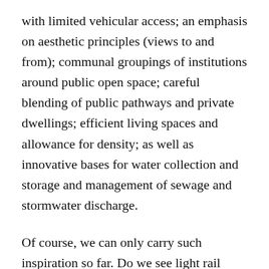with limited vehicular access; an emphasis on aesthetic principles (views to and from); communal groupings of institutions around public open space; careful blending of public pathways and private dwellings; efficient living spaces and allowance for density; as well as innovative bases for water collection and storage and management of sewage and stormwater discharge.
Of course, we can only carry such inspiration so far. Do we see light rail stops at the towns' base?  Energy efficiency and LEED certified construction?  These elements are clearly outside the context of the historic examples pictured here.
Nonetheless, we need to take regular walks among